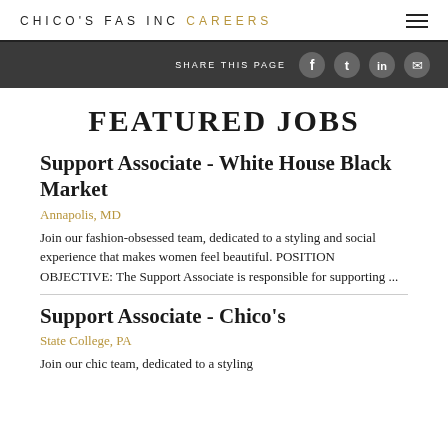CHICO'S FAS INC CAREERS
FEATURED JOBS
Support Associate - White House Black Market
Annapolis, MD
Join our fashion-obsessed team, dedicated to a styling and social experience that makes women feel beautiful. POSITION OBJECTIVE: The Support Associate is responsible for supporting ...
Support Associate - Chico's
State College, PA
Join our chic team, dedicated to a styling